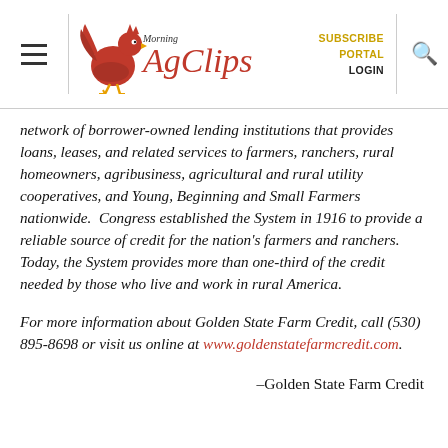Morning AgClips — SUBSCRIBE PORTAL LOGIN
network of borrower-owned lending institutions that provides loans, leases, and related services to farmers, ranchers, rural homeowners, agribusiness, agricultural and rural utility cooperatives, and Young, Beginning and Small Farmers nationwide.  Congress established the System in 1916 to provide a reliable source of credit for the nation's farmers and ranchers. Today, the System provides more than one-third of the credit needed by those who live and work in rural America.
For more information about Golden State Farm Credit, call (530) 895-8698 or visit us online at www.goldenstatefarmcredit.com.
–Golden State Farm Credit